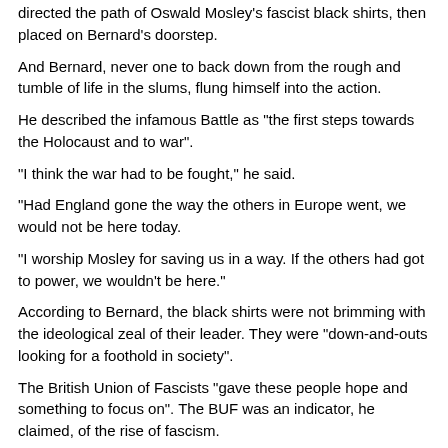directed the path of Oswald Mosley's fascist black shirts, then placed on Bernard's doorstep.
And Bernard, never one to back down from the rough and tumble of life in the slums, flung himself into the action.
He described the infamous Battle as "the first steps towards the Holocaust and to war".
"I think the war had to be fought," he said.
"Had England gone the way the others in Europe went, we would not be here today.
"I worship Mosley for saving us in a way. If the others had got to power, we wouldn't be here."
According to Bernard, the black shirts were not brimming with the ideological zeal of their leader. They were "down-and-outs looking for a foothold in society".
The British Union of Fascists "gave these people hope and something to focus on". The BUF was an indicator, he claimed, of the rise of fascism.
He said: "It was the fulcrum of a new time. These were the first shots of the darkness that was to follow."
Attending school during wartime, Bernard proved himself a maverick. He was evacuated outside London with Stepney Jewish School, but decided to "disregard the blitz" and head home.
"My nature has always been restless," he said. "I walked into a bombing raid and my parents were absolutely astounded.
"I told them I had to come home, because they had evacuated the school and